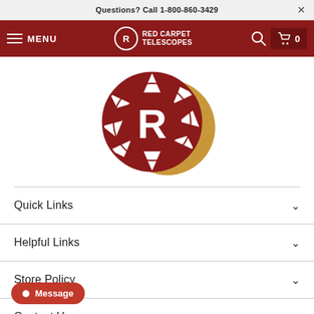Questions? Call 1-800-860-3429
[Figure (logo): Red Carpet Telescopes navigation bar with hamburger menu, logo, search icon, and cart]
[Figure (logo): Red Carpet Telescopes large logo: red circle with camera aperture blades, bold white R in center, golden crescent moon behind]
Quick Links
Helpful Links
Store Policy
Contact Us